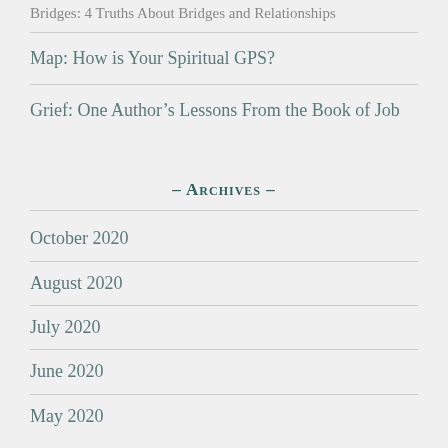Bridges: 4 Truths About Bridges and Relationships
Map: How is Your Spiritual GPS?
Grief: One Author's Lessons From the Book of Job
- Archives -
October 2020
August 2020
July 2020
June 2020
May 2020